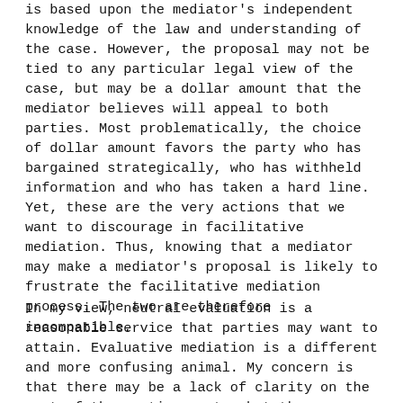is based upon the mediator's independent knowledge of the law and understanding of the case. However, the proposal may not be tied to any particular legal view of the case, but may be a dollar amount that the mediator believes will appeal to both parties. Most problematically, the choice of dollar amount favors the party who has bargained strategically, who has withheld information and who has taken a hard line. Yet, these are the very actions that we want to discourage in facilitative mediation. Thus, knowing that a mediator may make a mediator's proposal is likely to frustrate the facilitative mediation process. The two are therefore incompatible.
In my view, neutral evaluation is a reasonable service that parties may want to attain. Evaluative mediation is a different and more confusing animal. My concern is that there may be a lack of clarity on the part of the parties as to what the